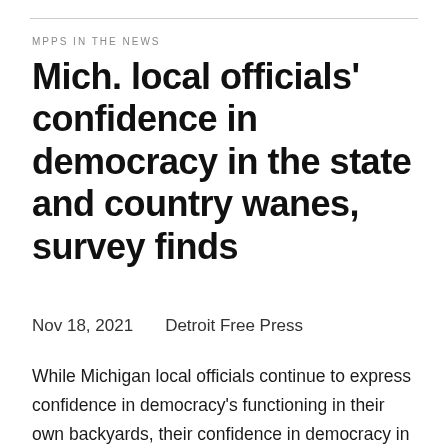MPPS IN THE NEWS
Mich. local officials' confidence in democracy in the state and country wanes, survey finds
Nov 18, 2021    Detroit Free Press
While Michigan local officials continue to express confidence in democracy's functioning in their own backyards, their confidence in democracy in the state and country has withered significantly over the past